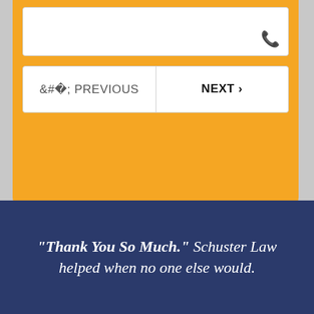[Figure (screenshot): A UI widget showing a white input field with a phone icon in the bottom right, and two navigation buttons labeled '‹ PREVIOUS' and 'NEXT ›', all contained within an orange rounded card over a gray background.]
"Thank You So Much." Schuster Law helped when no one else would.